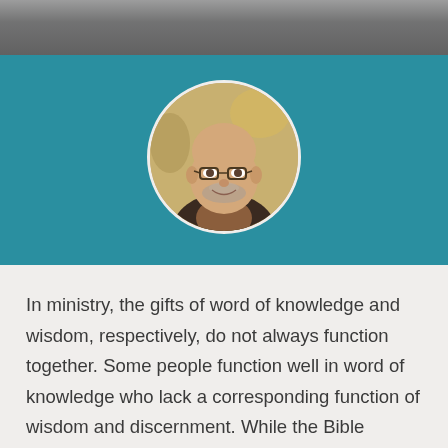[Figure (photo): Gray/dark photographic banner strip at the top of the page, appearing to show a blurred outdoor scene]
[Figure (photo): Circular portrait photo of a middle-aged bald man with glasses and a beard, wearing a brown and black jacket, set against a teal background]
In ministry, the gifts of word of knowledge and wisdom, respectively, do not always function together. Some people function well in word of knowledge who lack a corresponding function of wisdom and discernment. While the Bible doesn't specifically say that we should pray for gifts other